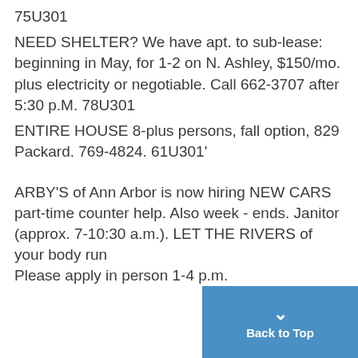75U301
NEED SHELTER? We have apt. to sub-lease: beginning in May, for 1-2 on N. Ashley, $150/mo. plus electricity or negotiable. Call 662-3707 after 5:30 p.M. 78U301
ENTIRE HOUSE 8-plus persons, fall option, 829 Packard. 769-4824. 61U301'
ARBY'S of Ann Arbor is now hiring NEW CARS part-time counter help. Also week - ends. Janitor (approx. 7-10:30 a.m.). LET THE RIVERS of your body run Please apply in person 1-4 p.m.